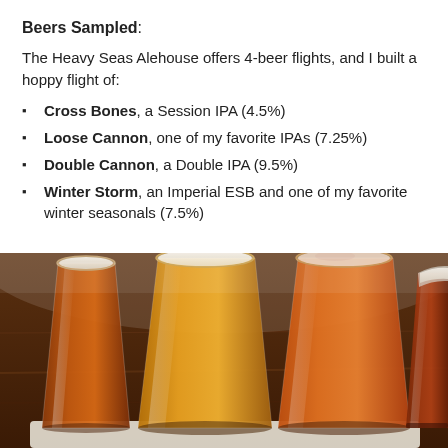Beers Sampled:
The Heavy Seas Alehouse offers 4-beer flights, and I built a hoppy flight of:
Cross Bones, a Session IPA (4.5%)
Loose Cannon, one of my favorite IPAs (7.25%)
Double Cannon, a Double IPA (9.5%)
Winter Storm, an Imperial ESB and one of my favorite winter seasonals (7.5%)
[Figure (photo): Four beer flight glasses filled with amber/golden beers arranged on a wooden surface, viewed from above and slightly in front.]